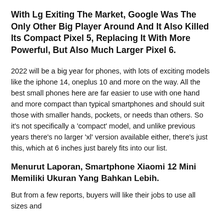With Lg Exiting The Market, Google Was The Only Other Big Player Around And It Also Killed Its Compact Pixel 5, Replacing It With More Powerful, But Also Much Larger Pixel 6.
2022 will be a big year for phones, with lots of exciting models like the iphone 14, oneplus 10 and more on the way. All the best small phones here are far easier to use with one hand and more compact than typical smartphones and should suit those with smaller hands, pockets, or needs than others. So it's not specifically a 'compact' model, and unlike previous years there's no larger 'xl' version available either, there's just this, which at 6 inches just barely fits into our list.
Menurut Laporan, Smartphone Xiaomi 12 Mini Memiliki Ukuran Yang Bahkan Lebih.
But from a few reports, buyers will like their jobs to use all sizes and...